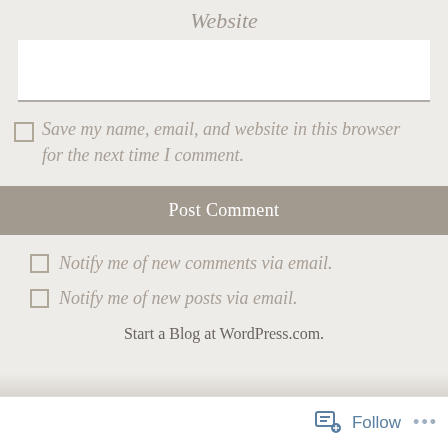Website
[Figure (screenshot): Empty white text input field for website URL with a bottom border line]
Save my name, email, and website in this browser for the next time I comment.
Post Comment
Notify me of new comments via email.
Notify me of new posts via email.
Start a Blog at WordPress.com.
Follow …